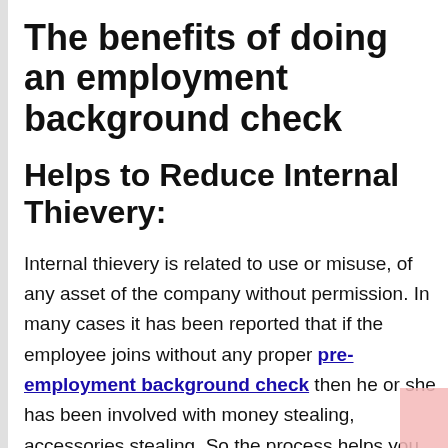The benefits of doing an employment background check
Helps to Reduce Internal Thievery:
Internal thievery is related to use or misuse, of any asset of the company without permission. In many cases it has been reported that if the employee joins without any proper pre-employment background check then he or she has been involved with money stealing, accessories stealing. So the process helps you to identify the proper intention and scope of...